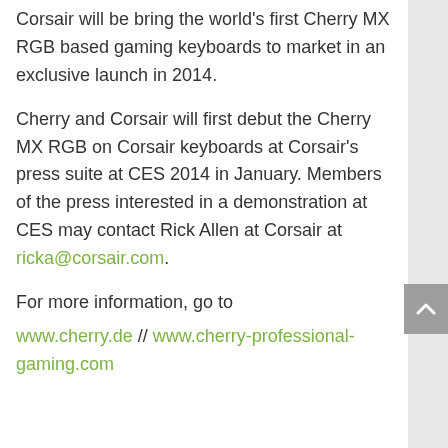Corsair will be bring the world's first Cherry MX RGB based gaming keyboards to market in an exclusive launch in 2014.
Cherry and Corsair will first debut the Cherry MX RGB on Corsair keyboards at Corsair's press suite at CES 2014 in January. Members of the press interested in a demonstration at CES may contact Rick Allen at Corsair at ricka@corsair.com.
For more information, go to
www.cherry.de  //  www.cherry-professional-gaming.com